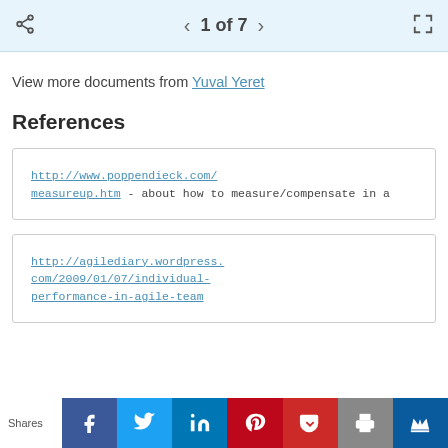1 of 7
View more documents from Yuval Yeret
References
http://www.poppendieck.com/measureup.htm - about how to measure/compensate in a
http://agilediary.wordpress.com/2009/01/07/individual-performance-in-agile-team
Shares | Facebook | Twitter | LinkedIn | Pinterest | Pocket | Print | Crown